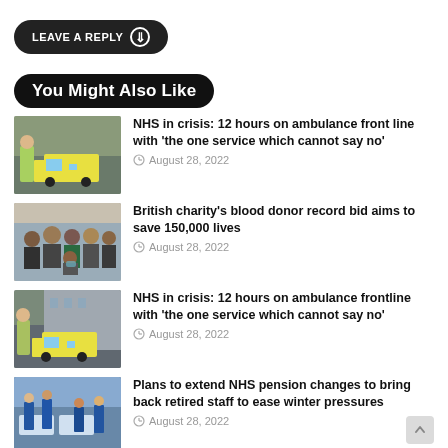LEAVE A REPLY
You Might Also Like
[Figure (photo): Paramedic in yellow vest standing next to a yellow ambulance on a city street]
NHS in crisis: 12 hours on ambulance front line with 'the one service which cannot say no'
August 28, 2022
[Figure (photo): Group of people including medical staff posing for a photo in a clinical setting]
British charity's blood donor record bid aims to save 150,000 lives
August 28, 2022
[Figure (photo): Paramedic in yellow vest standing next to a yellow ambulance on a city street]
NHS in crisis: 12 hours on ambulance frontline with 'the one service which cannot say no'
August 28, 2022
[Figure (photo): Hospital ward interior with medical staff in blue scrubs]
Plans to extend NHS pension changes to bring back retired staff to ease winter pressures
August 28, 2022